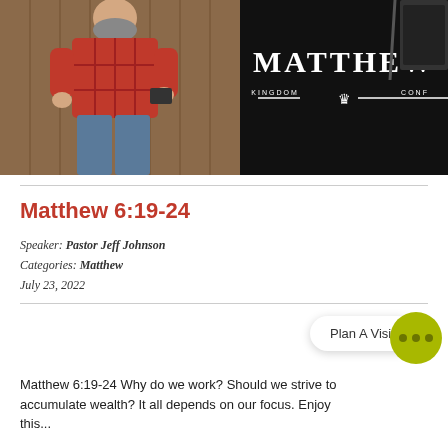[Figure (photo): A man in a red/maroon plaid shirt standing and holding a book/tablet, with a black presentation board behind him showing 'MATTHEW KINGDOM — [crown icon] — CONF...']
Matthew 6:19-24
Speaker: Pastor Jeff Johnson
Categories: Matthew
July 23, 2022
Matthew 6:19-24 Why do we work? Should we strive to accumulate wealth? It all depends on our focus. Enjoy this...